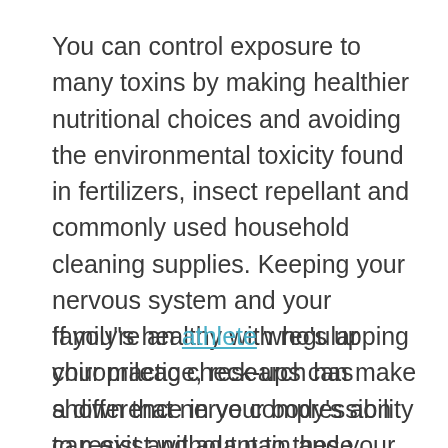You can control exposure to many toxins by making healthier nutritional choices and avoiding the environmental toxicity found in fertilizers, insect repellant and commonly used household cleaning supplies. Keeping your nervous system and your family's healthy with regular chiropractic check-ups can make a difference in your body's ability to resist and adapt to these toxins, pollen and irritants.
If you're an athlete who's upping your mileage, research has shown that nerve compression can exist without pain and your bones and joints can begin to deteriorate on a microscopic level within a few weeks. This can slow your reaction time and